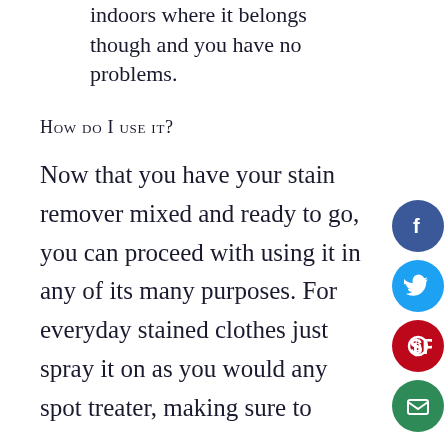indoors where it belongs though and you have no problems.
How do I use it?
Now that you have your stain remover mixed and ready to go, you can proceed with using it in any of its many purposes. For everyday stained clothes just spray it on as you would any spot treater, making sure to